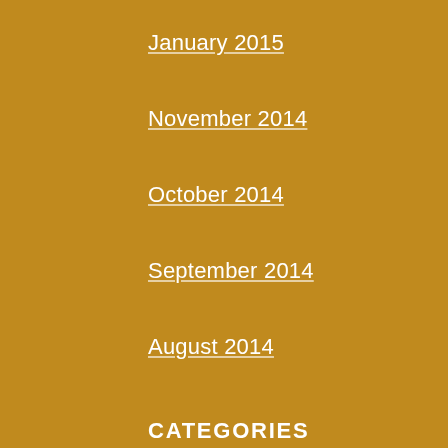January 2015
November 2014
October 2014
September 2014
August 2014
CATEGORIES
auto accident
auto insurance
case summary
heart & lung
injured on the job
Injury info